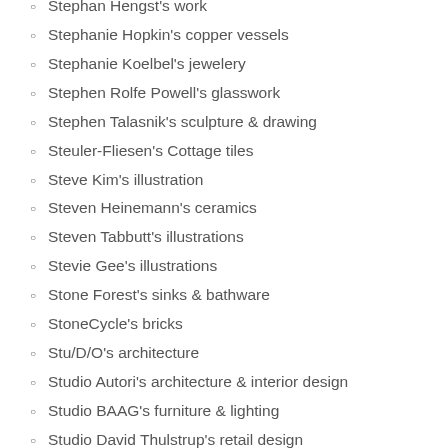Stephan Hengst's work
Stephanie Hopkin's copper vessels
Stephanie Koelbel's jewelery
Stephen Rolfe Powell's glasswork
Stephen Talasnik's sculpture & drawing
Steuler-Fliesen's Cottage tiles
Steve Kim's illustration
Steven Heinemann's ceramics
Steven Tabbutt's illustrations
Stevie Gee's illustrations
Stone Forest's sinks & bathware
StoneCycle's bricks
Stu/D/O's architecture
Studio Autori's architecture & interior design
Studio BAAG's furniture & lighting
Studio David Thulstrup's retail design
Studio Joanna's architecture